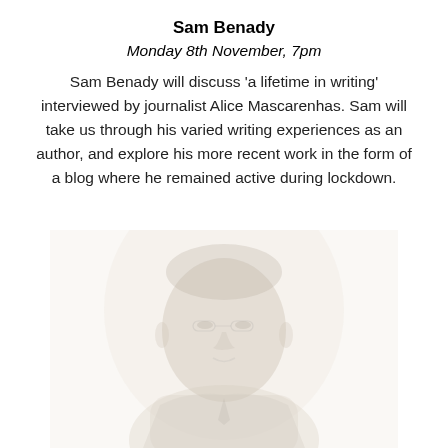Sam Benady
Monday 8th November, 7pm
Sam Benady will discuss ‘a lifetime in writing’ interviewed by journalist Alice Mascarenhas. Sam will take us through his varied writing experiences as an author, and explore his more recent work in the form of a blog where he remained active during lockdown.
[Figure (photo): Faded black-and-white portrait photograph of Sam Benady, showing a man's head and upper torso, lightly rendered against a pale background.]